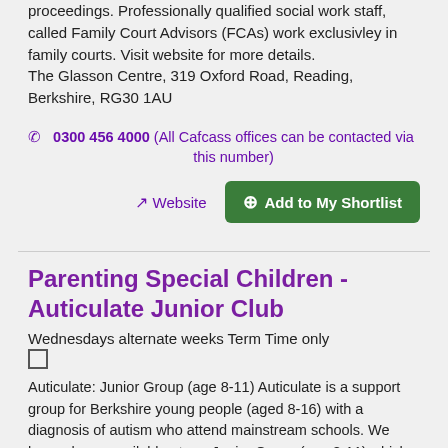proceedings. Professionally qualified social work staff, called Family Court Advisors (FCAs) work exclusivley in family courts. Visit website for more details.
The Glasson Centre, 319 Oxford Road, Reading, Berkshire, RG30 1AU
0300 456 4000 (All Cafcass offices can be contacted via this number)
Website
Add to My Shortlist
Parenting Special Children - Auticulate Junior Club
Wednesdays alternate weeks Term Time only
Auticulate: Junior Group (age 8-11) Auticulate is a support group for Berkshire young people (aged 8-16) with a diagnosis of autism who attend mainstream schools. We have places available at our Junior Group (age 8-11) which will be starting again in September. We meet in Reading,...
0118 9863532
Email
Website